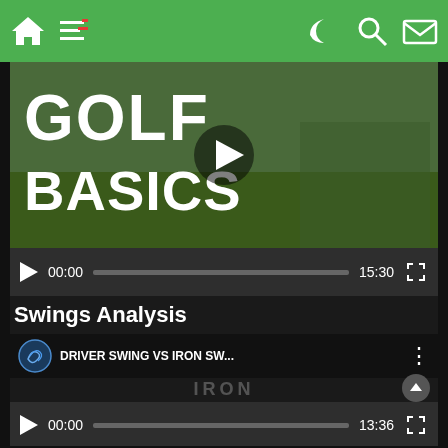[Figure (screenshot): Mobile app navigation bar with green background, home icon, menu icon, moon/dark mode icon, search icon, and mail icon]
[Figure (screenshot): Golf Basics video thumbnail showing text 'GOLF BASICS' in large white letters with a golfer crouching, video play button overlay, and video controls showing 00:00 / 15:30]
Swings Analysis
[Figure (screenshot): YouTube embedded video: DRIVER SWING VS IRON SW... by Meandmygolf channel, thumbnail showing golfers with DRIVER and IRON text overlay, play button, and video controls showing 00:00 / 13:36, with scroll-to-top arrow button]